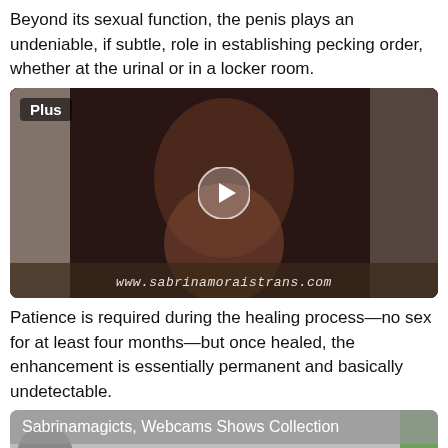Beyond its sexual function, the penis plays an undeniable, if subtle, role in establishing pecking order, whether at the urinal or in a locker room.
[Figure (photo): A person in black lingerie posing on a chair in front of curtains, with a play button overlay and watermark text 'www.sabrinamoraistrans.com'. A 'Plus' badge is in the top left corner.]
Patience is required during the healing process—no sex for at least four months—but once healed, the enhancement is essentially permanent and basically undetectable.
[Figure (photo): Partial image showing a person, with overlay text 'Sabrinamagicts, Webcams Shows Collection'.]